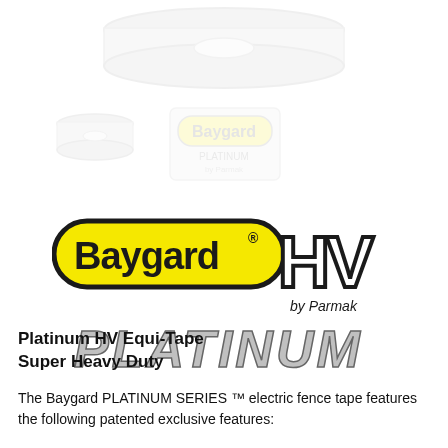[Figure (photo): Faded product images at top of page - reel/spool of electric fence tape, shown large at top and smaller versions below left, and a label/packaging image below center]
[Figure (logo): Baygard HV by Parmak PLATINUM logo - yellow pill-shaped badge with Baygard text, HV in large white outlined letters, 'by Parmak' italic text, and PLATINUM in large italic silver metallic letters below]
Platinum HV Equi-Tape
Super Heavy Duty
The Baygard PLATINUM SERIES ™ electric fence tape features the following patented exclusive features: